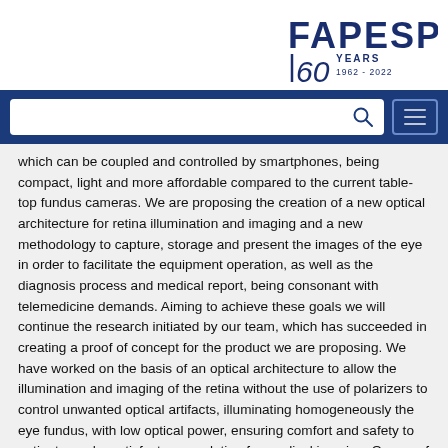FAPESP 60 YEARS 1962-2022
[Figure (logo): FAPESP 60 Years logo (1962-2022), with large bold dark blue FAPESP text, a stylized 60 numeral, and YEARS 1962-2022 text]
which can be coupled and controlled by smartphones, being compact, light and more affordable compared to the current table-top fundus cameras. We are proposing the creation of a new optical architecture for retina illumination and imaging and a new methodology to capture, storage and present the images of the eye in order to facilitate the equipment operation, as well as the diagnosis process and medical report, being consonant with telemedicine demands. Aiming to achieve these goals we will continue the research initiated by our team, which has succeeded in creating a proof of concept for the product we are proposing. We have worked on the basis of an optical architecture to allow the illumination and imaging of the retina without the use of polarizers to control unwanted optical artifacts, illuminating homogeneously the eye fundus, with low optical power, ensuring comfort and safety to patients, and a satisfactory resolution for medical imaging. Our proof of concept has generated a series of future demands and challenges, which we intend to address through the research and